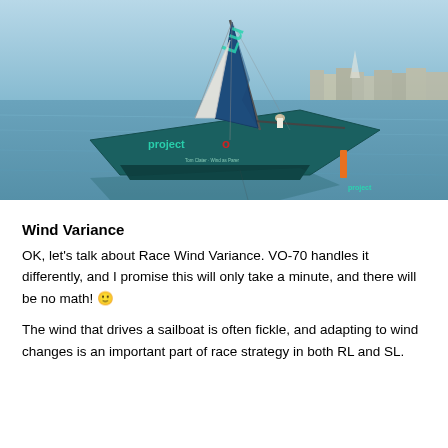[Figure (photo): Aerial/angled view of a racing sailboat named 'project o' sailing on calm blue water near a harbor with buildings visible in the background. The boat has a large dark teal sail and the hull displays 'project o' branding.]
Wind Variance
OK, let's talk about Race Wind Variance. VO-70 handles it differently, and I promise this will only take a minute, and there will be no math! 🙂
The wind that drives a sailboat is often fickle, and adapting to wind changes is an important part of race strategy in both RL and SL.